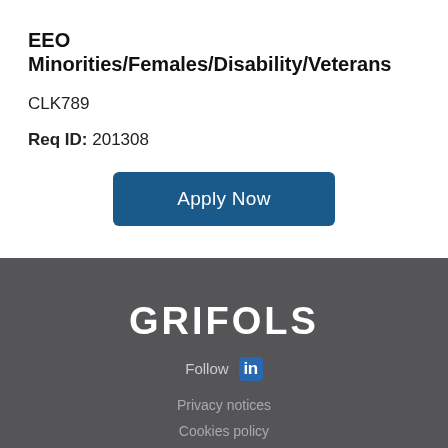EEO Minorities/Females/Disability/Veterans
CLK789
Req ID: 201308
Apply Now
GRIFOLS
Follow in
Privacy notices
Cookies policy